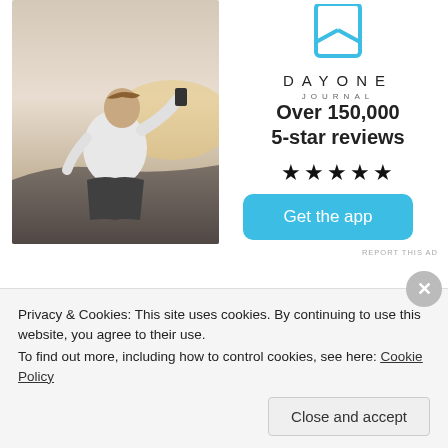[Figure (photo): Person sitting on rocks photographing a sunset, viewed from behind, wearing white t-shirt]
[Figure (logo): Day One Journal app logo: blue bookmark icon above text DAYONE JOURNAL]
Over 150,000
5-star reviews
★★★★★
Get the app
REPORT THIS AD
GraceoftheSun
Privacy & Cookies: This site uses cookies. By continuing to use this website, you agree to their use.
To find out more, including how to control cookies, see here: Cookie Policy
Close and accept